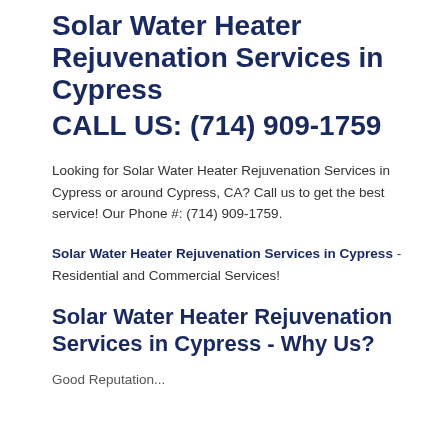Solar Water Heater Rejuvenation Services in Cypress
CALL US: (714) 909-1759
Looking for Solar Water Heater Rejuvenation Services in Cypress or around Cypress, CA? Call us to get the best service! Our Phone #: (714) 909-1759.
Solar Water Heater Rejuvenation Services in Cypress - Residential and Commercial Services!
Solar Water Heater Rejuvenation Services in Cypress - Why Us?
Good Reputation...